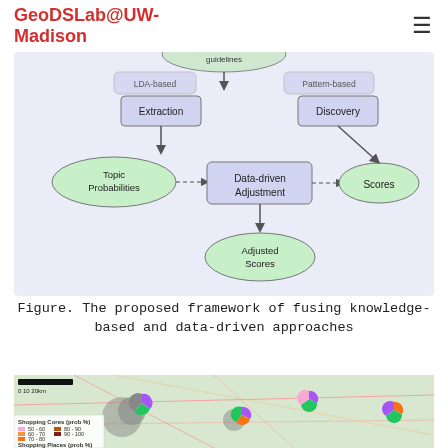GeoDSLab@UW-Madison
[Figure (flowchart): Flowchart showing proposed framework of fusing knowledge-based and data-driven approaches. Includes nodes: Topic Probabilities, LDA-based Extraction, Data-driven Adjustment, Adjusted Scores, Pattern-based Discovery, Scores. Arrows connect them. Right side label: KNOWLEDGE TO DATA.]
Figure. The proposed framework of fusing knowledge-based and data-driven approaches
[Figure (map): Geographic map showing shopping zones over a regional map (likely Los Angeles area). Pie charts overlaid on map locations showing Shopping Cores and Shopping Places probabilities in color segments (gray, purple, green, orange, pink). Legend in lower left shows Shopping Cores (prob %): 50-60, 60-70, 70-80, 80-90, 90-100 and Shopping Places (prob %).]